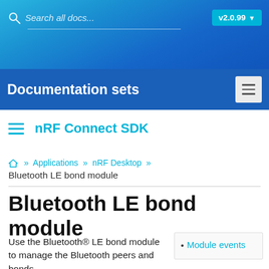Search all docs... v2.0.99
Documentation sets
nRF Connect SDK
» Applications » nRF Desktop » Bluetooth LE bond module
Bluetooth LE bond module
Use the Bluetooth® LE bond module to manage the Bluetooth peers and bonds
Module events